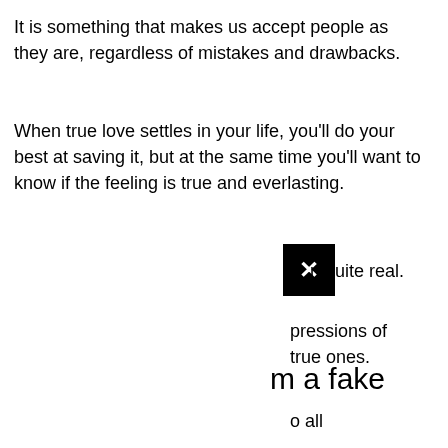It is something that makes us accept people as they are, regardless of mistakes and drawbacks.
When true love settles in your life, you'll do your best at saving it, but at the same time you'll want to know if the feeling is true and everlasting.
[Figure (other): Black square close/X button icon]
n quite real.
pressions of true ones.
o all
m a fake